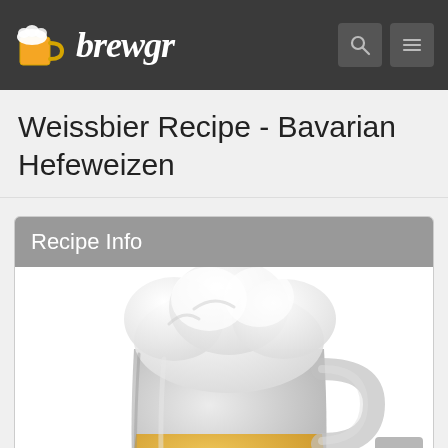brewgr
Weissbier Recipe - Bavarian Hefeweizen
Recipe Info
[Figure (illustration): A large beer mug illustration with white foam head and golden/amber beer, shown in grayscale/faded style. The mug occupies most of the recipe info card body area.]